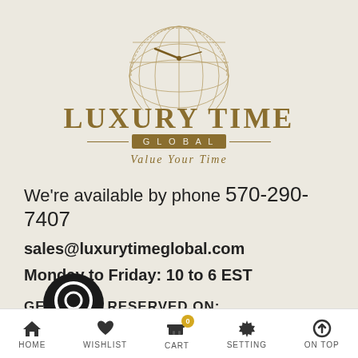[Figure (logo): Luxury Time Global logo with globe and clock hands graphic, brand name in gold serif text, 'GLOBAL' in a gold banner, and tagline 'Value Your Time' in italic gold]
We're available by phone 570-290-7407
sales@luxurytimeglobal.com
Monday to Friday: 10 to 6 EST
GET MORE RESERVED ON:
[Figure (other): Chat bubble icon (social/messaging app icon) in dark circular frame]
HOME  WISHLIST  CART  SETTING  ON TOP